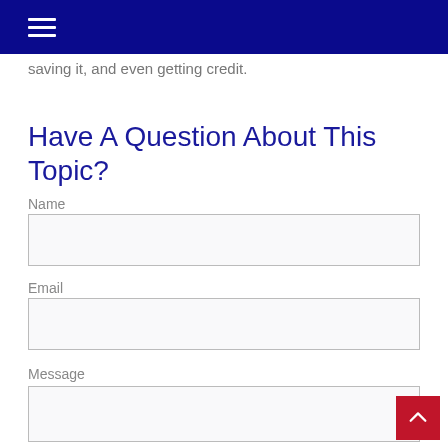saving it, and even getting credit.
Have A Question About This Topic?
Name
Email
Message